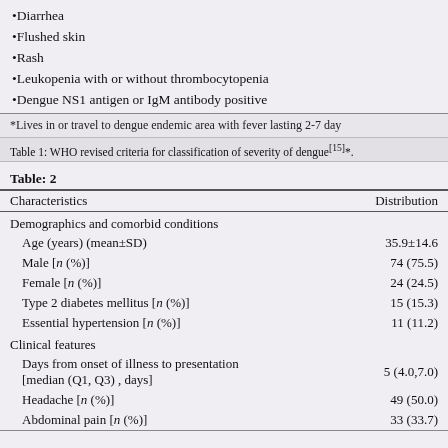•Diarrhea
•Flushed skin
•Rash
•Leukopenia with or without thrombocytopenia
•Dengue NS1 antigen or IgM antibody positive
*Lives in or travel to dengue endemic area with fever lasting 2-7 day
Table 1: WHO revised criteria for classification of severity of dengue [15]*.
Table: 2
| Characteristics | Distribution |
| --- | --- |
| Demographics and comorbid conditions |  |
| Age (years) (mean±SD) | 35.9±14.6 |
| Male [n (%)] | 74 (75.5) |
| Female [n (%)] | 24 (24.5) |
| Type 2 diabetes mellitus [n (%)] | 15 (15.3) |
| Essential hypertension [n (%)] | 11 (11.2) |
| Clinical features |  |
| Days from onset of illness to presentation [median (Q1, Q3) , days] | 5 (4.0,7.0) |
| Headache [n (%)] | 49 (50.0) |
| Abdominal pain [n (%)] | 33 (33.7) |